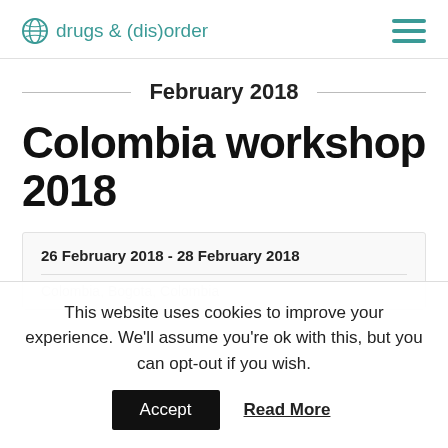drugs & (dis)order
February 2018
Colombia workshop 2018
26 February 2018 - 28 February 2018
This website uses cookies to improve your experience. We'll assume you're ok with this, but you can opt-out if you wish.